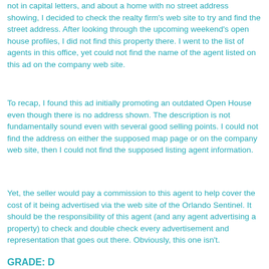not in capital letters, and about a home with no street address showing, I decided to check the realty firm's web site to try and find the street address. After looking through the upcoming weekend's open house profiles, I did not find this property there. I went to the list of agents in this office, yet could not find the name of the agent listed on this ad on the company web site.
To recap, I found this ad initially promoting an outdated Open House even though there is no address shown. The description is not fundamentally sound even with several good selling points. I could not find the address on either the supposed map page or on the company web site, then I could not find the supposed listing agent information.
Yet, the seller would pay a commission to this agent to help cover the cost of it being advertised via the web site of the Orlando Sentinel. It should be the responsibility of this agent (and any agent advertising a property) to check and double check every advertisement and representation that goes out there. Obviously, this one isn't.
GRADE: D...